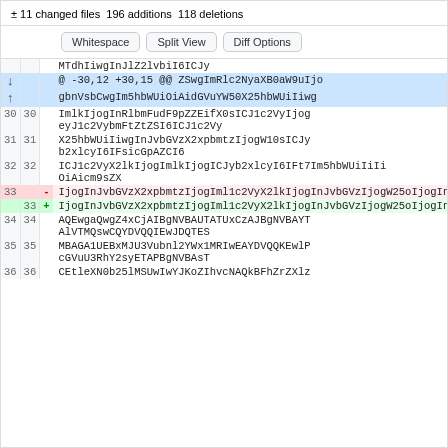± 11 changed files 196 additions 118 deletions
Whitespace | Split View | Diff Options
| old | new | op | code |
| --- | --- | --- | --- |
|  |  |  | MTdhIiwgInJlZ2lvbiI6ICJy |
|  |  |  | @ -30,12 +30,15 @@ ZSwgImRlc2NyaXB0aW9uIjo |
|  |  |  | gbnVsbCwgIm5hbWUiOiAidGVuYW50X25hbWUiIiwg |
| 30 | 30 |  | ImlkIjogInRlbmFudF9pZZEifX0sICJ1c2VyIjog eyJ1c2VybmFtZtZSI6ICJ1c2Vy |
| 31 | 31 |  | X25hbWUiIiwgInJvbGVzX2xpbmtzIjogW10sICJy b2xlcyI6IFsicGpAZCI6 |
| 32 | 32 |  | ICJ1c2VyX2lkIjogImlkIjogICJyb2xlcyI6IFt7Im5hbWUiIiIi OiAicm9sZX |
| 33 |  | - | IjogInJvbGVzX2xpbmtzIjogIml1c2VyX2lkIjogInJvbGVzIjogW25oIjogInVzZXJ STCCAUUC |
|  | 33 | + | IjogInJvbGVzX2xpbmtzIjogIml1c2VyX2lkIjogInJvbGVzIjogW25oIjogInVzZXJ yjCCAcYC |
| 34 | 34 |  | AQEwgaQwgZ4xCjAIBgNVBAUTATUxCzAJBgNVBAYT AlVTMQswCQYDVQQIEwJDQTES |
| 35 | 35 |  | MBAGA1UEBxMJU3Vubnl2YWx1MRIwEAYDVQQKEwlP cGVuU3RhY2syETAPBgNVBAsT |
| 36 | 36 |  | CEtleXN0b25lMSUwIwYJKoZIhvcNAQkBFhZrZXlz |